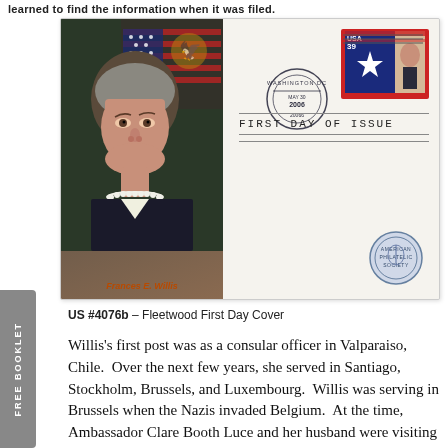learned to find the information when it was filed.
[Figure (photo): US #4076b Fleetwood First Day Cover featuring a portrait of Frances E. Willis against an American flag background, with a 39-cent US postage stamp showing a woman, a Washington DC postmark dated May 30 2006, 'FIRST DAY OF ISSUE' text, and an official seal.]
US #4076b – Fleetwood First Day Cover
Willis's first post was as a consular officer in Valparaiso, Chile.  Over the next few years, she served in Santiago, Stockholm, Brussels, and Luxembourg.  Willis was serving in Brussels when the Nazis invaded Belgium.  At the time, Ambassador Clare Booth Luce and her husband were visiting the ambassador in Brussels.  Willis proceeded to drive them through the German lines to Bri-